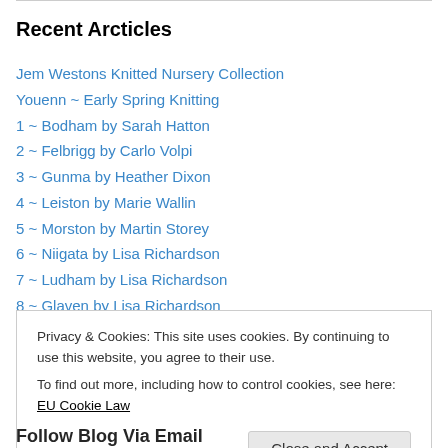Recent Arcticles
Jem Westons Knitted Nursery Collection
Youenn ~ Early Spring Knitting
1 ~ Bodham by Sarah Hatton
2 ~ Felbrigg by Carlo Volpi
3 ~ Gunma by Heather Dixon
4 ~ Leiston by Marie Wallin
5 ~ Morston by Martin Storey
6 ~ Niigata by Lisa Richardson
7 ~ Ludham by Lisa Richardson
8 ~ Glaven by Lisa Richardson
Privacy & Cookies: This site uses cookies. By continuing to use this website, you agree to their use. To find out more, including how to control cookies, see here: EU Cookie Law
Follow Blog Via Email